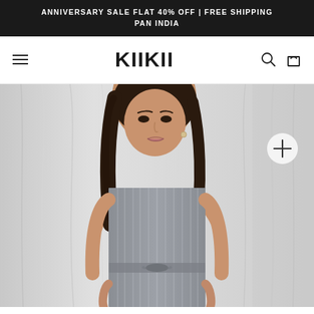ANNIVERSARY SALE FLAT 40% OFF | FREE SHIPPING PAN INDIA
KIIKII
[Figure (photo): A female model wearing a strapless grey striped jumpsuit with a waist tie, posed against a draped grey fabric background. Navigation bar with hamburger menu on left, KIIKII logo in center, search and cart icons on right. A circular plus button is visible in the top-right of the product image.]